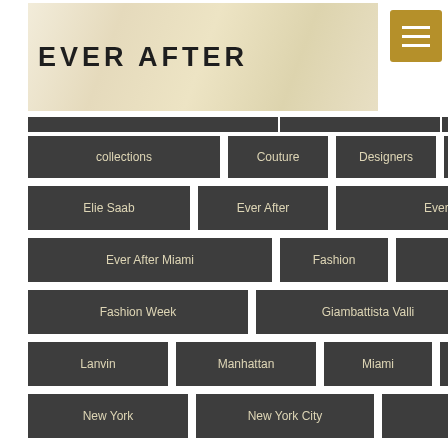EVER AFTER
collections
Couture
Designers
Douglas Hannant
Elie Saab
Ever After
Ever After Bride
Ever After Miami
Fashion
fashion photography
Fashion Week
Giambattista Valli
ines di santo
Lanvin
Manhattan
Miami
Naeem Khan
New York
New York City
New York fashion week
oscar de la renta
Oscar de la Renta bridal
Paris
Ready to Wear
Red Carpet
Reem Acra
Rivini